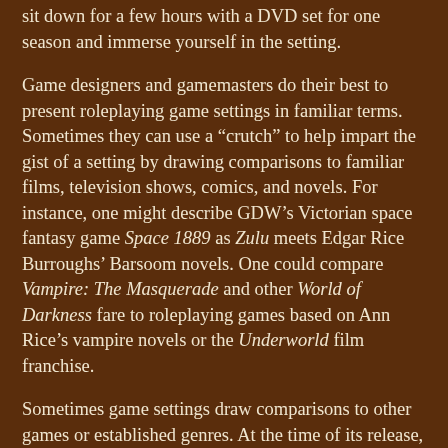sit down for a few hours with a DVD set for one season and immerse yourself in the setting.
Game designers and gamemasters do their best to present roleplaying game settings in familiar terms. Sometimes they can use a “crutch” to help impart the gist of a setting by drawing comparisons to familiar films, television shows, comics, and novels. For instance, one might describe GDW’s Victorian space fantasy game Space 1889 as Zulu meets Edgar Rice Burroughs’ Barsoom novels. One could compare Vampire: The Masquerade and other World of Darkness fare to roleplaying games based on Ann Rice’s vampire novels or the Underworld film franchise.
Sometimes game settings draw comparisons to other games or established genres. At the time of its release, Fantasy Flight Games’ Dragonstar was billed as “D&D in space” (though one might argue the Spelljammer setting holds that distinction). Wicked North Games’ Westward could easily be described as Wild West steampunk on another planet. R. Talsorian’s gorgeous Castle Falkenstein used comparisons to genre films and literature plus a healthy dose of fantastic